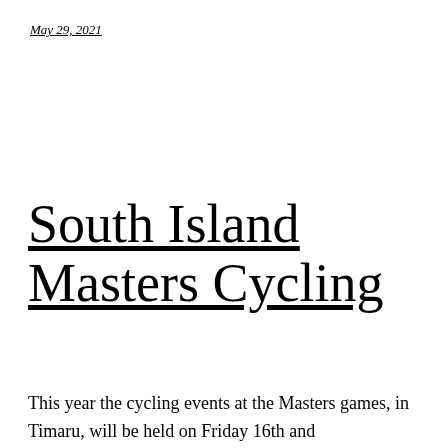May 29, 2021
South Island Masters Cycling
This year the cycling events at the Masters games, in Timaru, will be held on Friday 16th and